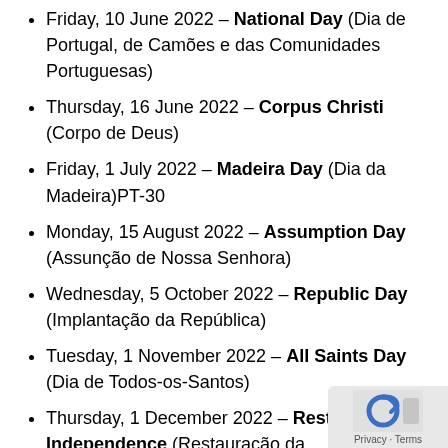Friday, 10 June 2022 – National Day (Dia de Portugal, de Camões e das Comunidades Portuguesas)
Thursday, 16 June 2022 – Corpus Christi (Corpo de Deus)
Friday, 1 July 2022 – Madeira Day (Dia da Madeira)PT-30
Monday, 15 August 2022 – Assumption Day (Assunção de Nossa Senhora)
Wednesday, 5 October 2022 – Republic Day (Implantação da República)
Tuesday, 1 November 2022 – All Saints Day (Dia de Todos-os-Santos)
Thursday, 1 December 2022 – Restoration of Independence (Restauração da